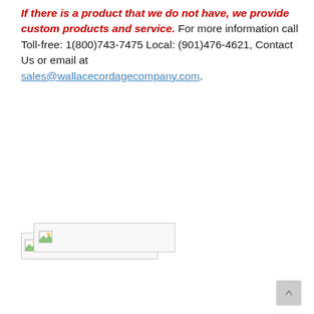If there is a product that we do not have, we provide custom products and service. For more information call Toll-free: 1(800)743-7475 Local: (901)476-4621, Contact Us or email at sales@wallacecordagecompany.com.
[Figure (other): Broken image placeholder (image failed to load)]
[Figure (other): Broken image placeholder (image failed to load)]